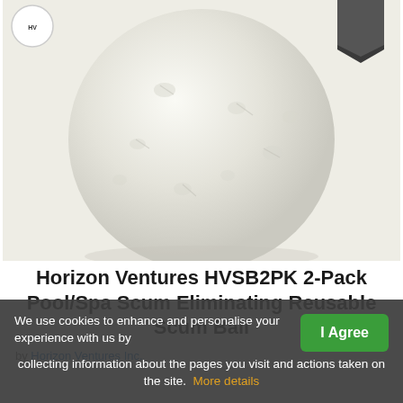[Figure (photo): A white fuzzy/textured scum ball (pool/spa cleaning ball) centered against a light off-white background, with a small circular logo in the top-left corner and a dark arrow/ribbon badge in the top-right corner.]
Horizon Ventures HVSB2PK 2-Pack Pool/Spa Scum Eliminating Reusable Scum Ball
by Horizon Ventures Inc.
What We like
We use cookies to enhance and personalise your experience with us by collecting information about the pages you visit and actions taken on the site. More details